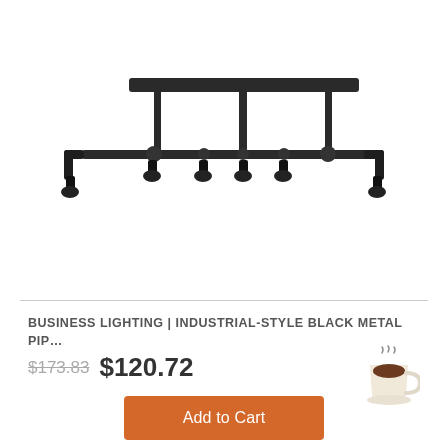[Figure (photo): Industrial-style black metal pipe pendant light fixture with multiple bulb sockets hanging downward, shown on white background]
BUSINESS LIGHTING | INDUSTRIAL-STYLE BLACK METAL PIP…
$173.83  $120.72
Add to Cart